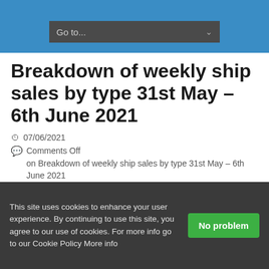Go to...
Breakdown of weekly ship sales by type 31st May – 6th June 2021
07/06/2021
Comments Off on Breakdown of weekly ship sales by type 31st May – 6th June 2021
[Figure (logo): Red circular logo with white anchor or arrow shape on red background]
This site uses cookies to enhance your user experience. By continuing to use this site, you agree to our use of cookies. For more info go to our Cookie Policy More info